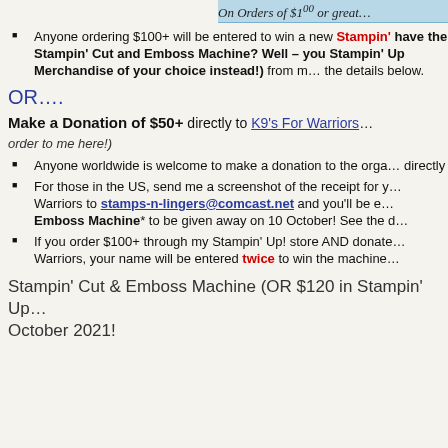On Orders of $100 or great…
Anyone ordering $100+ will be entered to win a new Stampin'… have the Stampin' Cut and Emboss Machine? Well – you… Stampin' Up Merchandise of your choice instead!) from m… the details below.
OR….
Make a Donation of $50+ directly to K9's For Warriors… order to me here!)
Anyone worldwide is welcome to make a donation to the orga… directly
For those in the US, send me a screenshot of the receipt for y… Warriors to stamps-n-lingers@comcast.net and you'll be e… Emboss Machine* to be given away on 10 October! See the d…
If you order $100+ through my Stampin' Up! store AND donate… Warriors, your name will be entered twice to win the machine…
Stampin' Cut & Emboss Machine (OR $120 in Stampin' Up… October 2021!